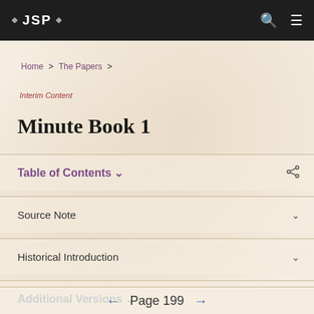JSP
Home > The Papers >
Interim Content
Minute Book 1
Table of Contents
Source Note
Historical Introduction
Additional Versions
← Page 199 →